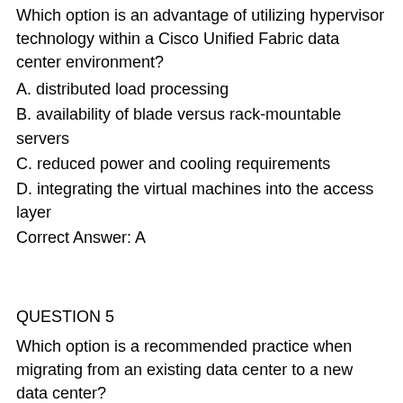Which option is an advantage of utilizing hypervisor technology within a Cisco Unified Fabric data center environment?
A. distributed load processing
B. availability of blade versus rack-mountable servers
C. reduced power and cooling requirements
D. integrating the virtual machines into the access layer
Correct Answer: A
QUESTION 5
Which option is a recommended practice when migrating from an existing data center to a new data center?